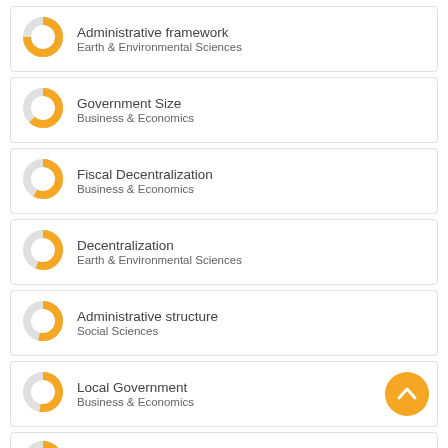Administrative framework — Earth & Environmental Sciences
Government Size — Business & Economics
Fiscal Decentralization — Business & Economics
Decentralization — Earth & Environmental Sciences
Administrative structure — Social Sciences
Local Government — Business & Economics
Local government (partial)